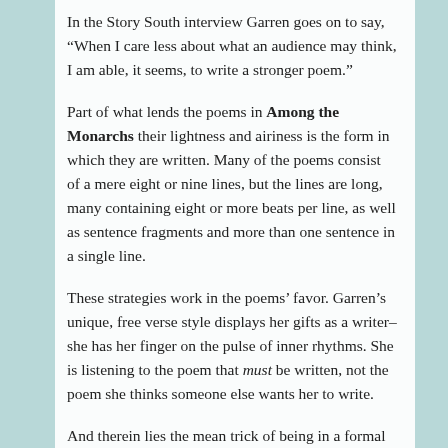In the Story South interview Garren goes on to say, “When I care less about what an audience may think, I am able, it seems, to write a stronger poem.”
Part of what lends the poems in Among the Monarchs their lightness and airiness is the form in which they are written. Many of the poems consist of a mere eight or nine lines, but the lines are long, many containing eight or more beats per line, as well as sentence fragments and more than one sentence in a single line.
These strategies work in the poems’ favor. Garren’s unique, free verse style displays her gifts as a writer–she has her finger on the pulse of inner rhythms. She is listening to the poem that must be written, not the poem she thinks someone else wants her to write.
And therein lies the mean trick of being in a formal writing program. As a student, I need to remember that learning